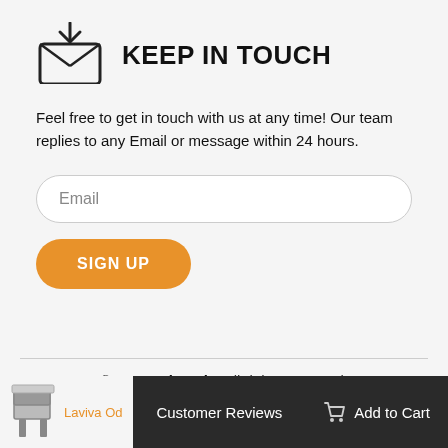KEEP IN TOUCH
Feel free to get in touch with us at any time! Our team replies to any Email or message within 24 hours.
Email
SIGN UP
© 2022 Primeply, All rights reserved.
Laviva Od | Customer Reviews | Add to Cart